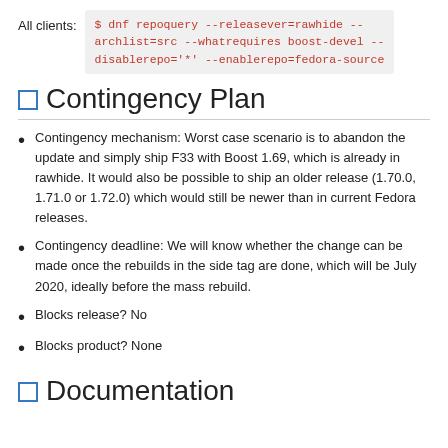All clients: $ dnf repoquery --releasever=rawhide --archlist=src --whatrequires boost-devel --disablerepo='*' --enablerepo=fedora-source
Contingency Plan
Contingency mechanism: Worst case scenario is to abandon the update and simply ship F33 with Boost 1.69, which is already in rawhide. It would also be possible to ship an older release (1.70.0, 1.71.0 or 1.72.0) which would still be newer than in current Fedora releases.
Contingency deadline: We will know whether the change can be made once the rebuilds in the side tag are done, which will be July 2020, ideally before the mass rebuild.
Blocks release? No
Blocks product? None
Documentation